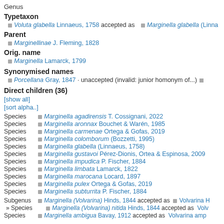Genus
Typetaxon
Voluta glabella Linnaeus, 1758 accepted as Marginella glabella (Linna...
Parent
Marginellinae J. Fleming, 1828
Orig. name
Marginella Lamarck, 1799
Synonymised names
Porcellana Gray, 1847 · unaccepted (invalid: junior homonym of...)
Direct children (36)
[show all]
[sort alpha..]
Species   Marginella agadirensis T. Cossignani, 2022
Species   Marginella aronnax Bouchet & Warén, 1985
Species   Marginella carmenae Ortega & Gofas, 2019
Species   Marginella colomborum (Bozzetti, 1995)
Species   Marginella glabella (Linnaeus, 1758)
Species   Marginella gustavoi Pérez-Dionis, Ortea & Espinosa, 2009
Species   Marginella impudica P. Fischer, 1884
Species   Marginella limbata Lamarck, 1822
Species   Marginella marocana Locard, 1897
Species   Marginella pulex Ortega & Gofas, 2019
Species   Marginella subturrita P. Fischer, 1884
Subgenus   Marginella (Volvarina) Hinds, 1844 accepted as   Volvarina H...
» Species   Marginella (Volvarina) nitida Hinds, 1844 accepted as   Volv...
Species   Marginella ambigua Bavay, 1912 accepted as   Volvarina amp...